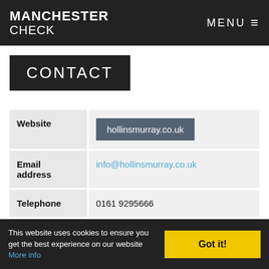MANCHESTER CHECK | MENU
CONTACT
|  |  |
| --- | --- |
| Website | hollinsmurray.co.uk |
| Email address | info@hollinsmurray.co.uk |
| Telephone | 0161 9295666 |
| Telephone region | Manchester |
This website uses cookies to ensure you get the best experience on our website More info
Got it!